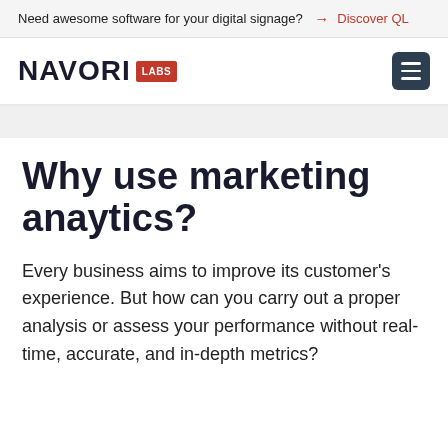Need awesome software for your digital signage? → Discover QL
[Figure (logo): Navori Labs logo with red LABS badge and dark hamburger menu icon]
Why use marketing anaytics?
Every business aims to improve its customer's experience. But how can you carry out a proper analysis or assess your performance without real-time, accurate, and in-depth metrics?